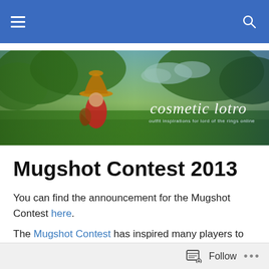[Figure (screenshot): Website navigation bar with blue background, hamburger menu icon on left and search icon on right]
[Figure (photo): Banner image for 'cosmetic lotro' website showing a hobbit-like character in a red outfit and wide-brimmed hat standing in a green field with trees and blue sky. Text reads 'cosmetic lotro' and 'outfit inspirations for lord of the rings online']
Mugshot Contest 2013
You can find the announcement for the Mugshot Contest here.
The Mugshot Contest has inspired many players to come up with fun and original screenshots and crime stories. Of course everybody deserves to win, but we had to make a selection from the entries and pick the finalists, so the
Follow ...